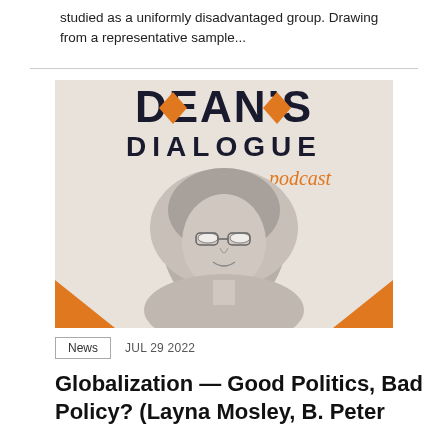studied as a uniformly disadvantaged group. Drawing from a representative sample...
[Figure (photo): Dean's Dialogue podcast logo with black-and-white photo of a woman wearing a headscarf and glasses, with orange decorative elements and the text 'DEAN'S DIALOGUE podcast']
News   JUL 29 2022
Globalization — Good Politics, Bad Policy? (Layna Mosley, B. Peter